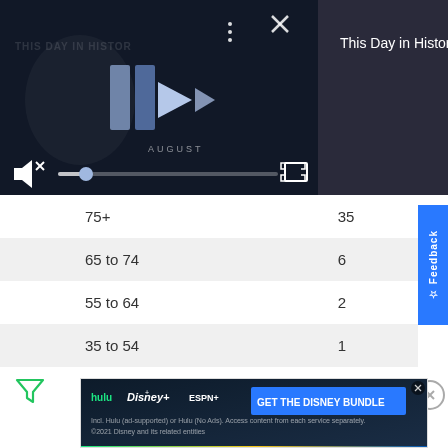[Figure (screenshot): Video player showing 'This Day in History' NFL content with playback controls, mute icon, progress bar, and fullscreen button. Dark background with play button and 'AUGUST' text.]
This Day in History
| Age Group | Count |
| --- | --- |
| 75+ | 35 |
| 65 to 74 | 6 |
| 55 to 64 | 2 |
| 35 to 54 | 1 |
| 18 to 34 |  |
[Figure (screenshot): Feedback tab on right side in blue]
[Figure (screenshot): Filter/funnel icon at bottom left]
[Figure (screenshot): Disney Bundle advertisement banner at bottom with Hulu, Disney+, ESPN+ logos and 'GET THE DISNEY BUNDLE' CTA]